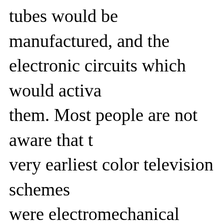tubes would be manufactured, and the electronic circuits which would activate them. Most people are not aware that the very earliest color television schemes were electromechanical contraptions that either spun a transparent color wheel in from of a modulated light beam, or used mirrors to direct colors to the appropriate position. Fortunately, the fully electronic version